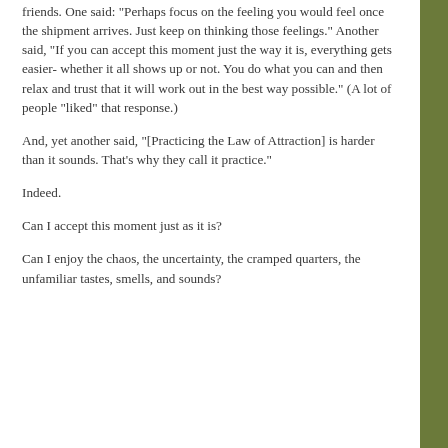friends. One said: "Perhaps focus on the feeling you would feel once the shipment arrives. Just keep on thinking those feelings." Another said, "If you can accept this moment just the way it is, everything gets easier- whether it all shows up or not. You do what you can and then relax and trust that it will work out in the best way possible." (A lot of people "liked" that response.)
And, yet another said, "[Practicing the Law of Attraction] is harder than it sounds. That's why they call it practice."
Indeed.
Can I accept this moment just as it is?
Can I enjoy the chaos, the uncertainty, the cramped quarters, the unfamiliar tastes, smells, and sounds?